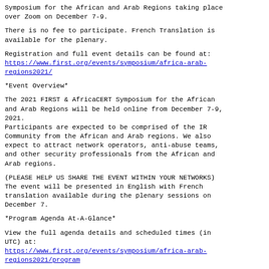Symposium for the African and Arab Regions taking place over Zoom on December 7-9.
There is no fee to participate. French Translation is available for the plenary.
Registration and full event details can be found at: https://www.first.org/events/symposium/africa-arab-regions2021/
*Event Overview*
The 2021 FIRST & AfricaCERT Symposium for the African and Arab Regions will be held online from December 7-9, 2021.
Participants are expected to be comprised of the IR Community from the African and Arab regions. We also expect to attract network operators, anti-abuse teams, and other security professionals from the African and Arab regions.
(PLEASE HELP US SHARE THE EVENT WITHIN YOUR NETWORKS) The event will be presented in English with French translation available during the plenary sessions on December 7.
*Program Agenda At-A-Glance*
View the full agenda details and scheduled times (in UTC) at: https://www.first.org/events/symposium/africa-arab-regions2021/program